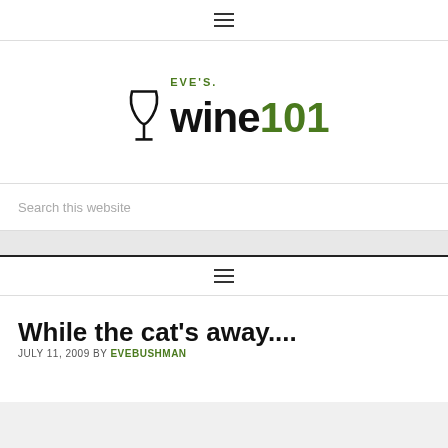☰ (hamburger menu icon)
[Figure (logo): Eve's Wine 101 logo with wine glass graphic. 'EVE'S.' in small green uppercase text, 'wine' in large black bold text with a wine glass icon, '101' in large green bold text.]
Search this website
☰ (hamburger menu icon)
While the cat's away....
JULY 11, 2009 BY EVEBUSHMAN